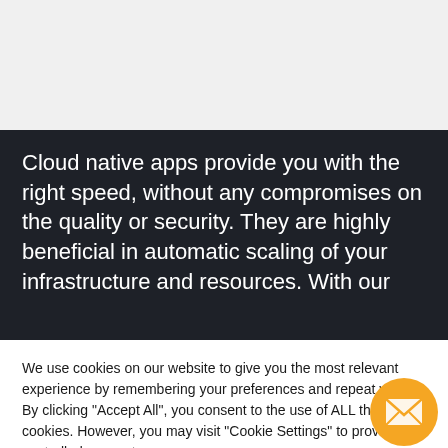[Figure (screenshot): Gray background top section of a website page]
Cloud native apps provide you with the right speed, without any compromises on the quality or security. They are highly beneficial in automatic scaling of your infrastructure and resources. With our
We use cookies on our website to give you the most relevant experience by remembering your preferences and repeat visits. By clicking "Accept All", you consent to the use of ALL the cookies. However, you may visit "Cookie Settings" to provide a controlled consent.
[Figure (other): Orange circular email/message button with envelope icon]